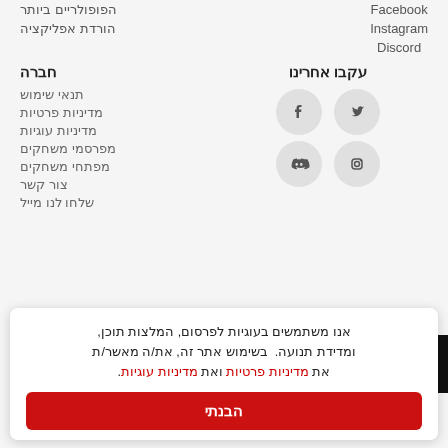הפופולריים ביותר
הורדת אפליקציה
Facebook
Instagram
Discord
חברה
תנאי שימוש
מדיניות פרטיות
מדיניות עוגיות
מפרסמי משחקים
מפתחי משחקים
צור קשר
שלחו לנו מייל
עקבו אחרינו
[Figure (infographic): Social media icon buttons: Facebook, Twitter, Discord, Instagram in circular grey buttons]
אנו משתמשים בעוגיות לפרסום, המלצות תוכן, ומדידת תנועה. בשימוש אתר זה, את/ה מאשר/ת את מדיניות פרטיות ואת מדיניות עוגיות.
הבנתי